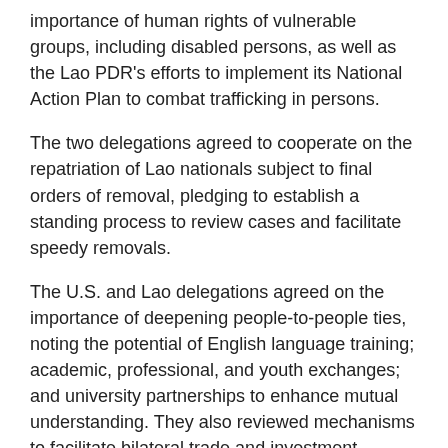importance of human rights of vulnerable groups, including disabled persons, as well as the Lao PDR's efforts to implement its National Action Plan to combat trafficking in persons.
The two delegations agreed to cooperate on the repatriation of Lao nationals subject to final orders of removal, pledging to establish a standing process to review cases and facilitate speedy removals.
The U.S. and Lao delegations agreed on the importance of deepening people-to-people ties, noting the potential of English language training; academic, professional, and youth exchanges; and university partnerships to enhance mutual understanding. They also reviewed mechanisms to facilitate bilateral trade and investment, including their Trade and Investment Framework Agreement, and noted the opportunities for increased business between the two countries. Both delegations look forward to holding the ninth